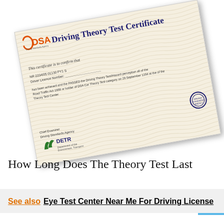[Figure (photo): A DSA Driving Theory Test Certificate shown at an angle (rotated approximately -10 degrees). The certificate has a wavy cream/beige background pattern, features the DSA logo in orange top-left, title 'Driving Theory Test Certificate' in dark blue, fields for certificate number, driver licence number, body text about passing the theory test, a circular seal/stamp in dark blue bottom-right, DETR logo in green bottom-left, and signature lines.]
How Long Does The Theory Test Last
See also  Eye Test Center Near Me For Driving License